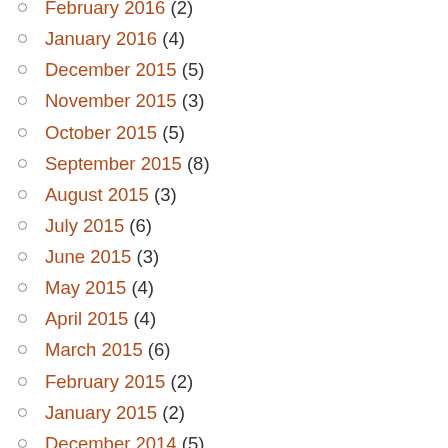February 2016 (2)
January 2016 (4)
December 2015 (5)
November 2015 (3)
October 2015 (5)
September 2015 (8)
August 2015 (3)
July 2015 (6)
June 2015 (3)
May 2015 (4)
April 2015 (4)
March 2015 (6)
February 2015 (2)
January 2015 (2)
December 2014 (5)
November 2014 (12)